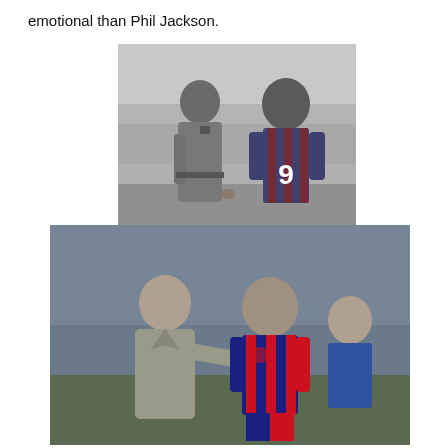emotional than Phil Jackson.
[Figure (photo): Black and white photo of a coach in a trench coat speaking to a player wearing jersey number 9 on a football pitch with a crowd in the background.]
[Figure (photo): Color photo of a coach in a grey coat with his hand on the shoulder of a player wearing a red and blue striped FC Barcelona jersey, with another player visible in the background.]